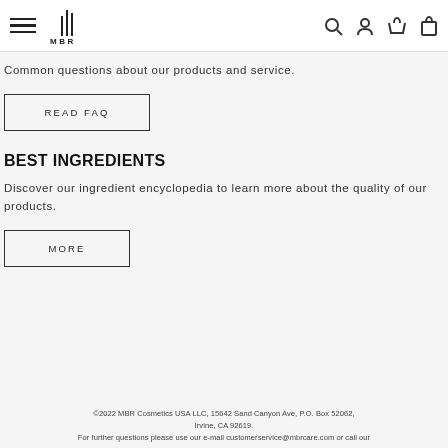MBR navigation header with hamburger menu, logo, search, account, wishlist, and cart icons
Common questions about our products and service.
READ FAQ
BEST INGREDIENTS
Discover our ingredient encyclopedia to learn more about the quality of our products.
MORE
©2022 MBR Cosmetics USA LLC, 15642 Sand Canyon Ave, P.O. Box 52062, Irvine, CA 92619. For further questions please use our e-mail customerservice@mbrcare.com or call our